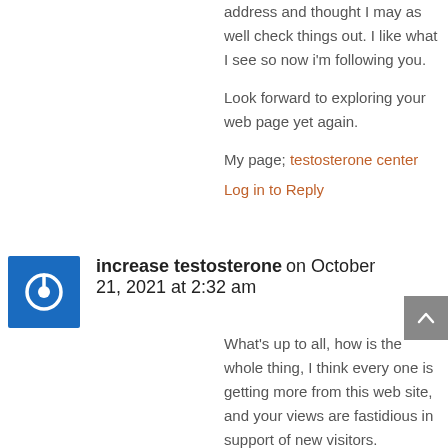address and thought I may as well check things out. I like what I see so now i'm following you.

Look forward to exploring your web page yet again.

My page; testosterone center
Log in to Reply
increase testosterone on October 21, 2021 at 2:32 am
What's up to all, how is the whole thing, I think every one is getting more from this web site, and your views are fastidious in support of new visitors.

Also visit my page – increase testosterone
Log in to Reply